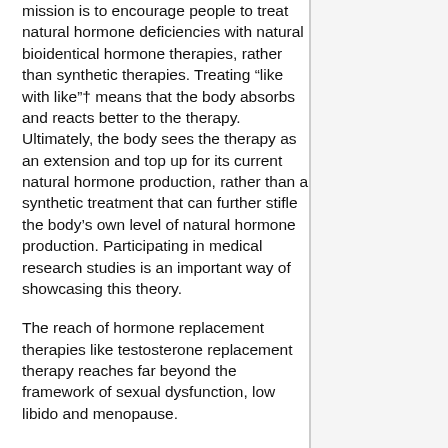mission is to encourage people to treat natural hormone deficiencies with natural bioidentical hormone therapies, rather than synthetic therapies. Treating “like with like”† means that the body absorbs and reacts better to the therapy. Ultimately, the body sees the therapy as an extension and top up for its current natural hormone production, rather than a synthetic treatment that can further stifle the body’s own level of natural hormone production. Participating in medical research studies is an important way of showcasing this theory.
The reach of hormone replacement therapies like testosterone replacement therapy reaches far beyond the framework of sexual dysfunction, low libido and menopause.